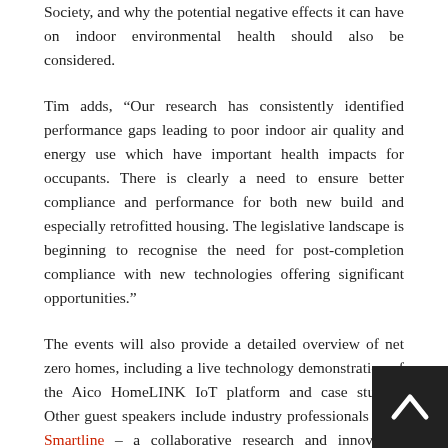Society, and why the potential negative effects it can have on indoor environmental health should also be considered.
Tim adds, “Our research has consistently identified performance gaps leading to poor indoor air quality and energy use which have important health impacts for occupants. There is clearly a need to ensure better compliance and performance for both new build and especially retrofitted housing. The legislative landscape is beginning to recognise the need for post-completion compliance with new technologies offering significant opportunities.”
The events will also provide a detailed overview of net zero homes, including a live technology demonstration of the Aico HomeLINK IoT platform and case studies. Other guest speakers include industry professionals from Smartline – a collaborative research and innovation project led by the University of Exeter, with a focus on how willing people are to use digital technology that aims to improve health and wellbeing.
Chris Jones, CEO of HomeLINK, says: “Making homes healthier and more sustainable is an urgent priority for everyone in the sector. It is essential that we share information and research in these challenging times, and we want to amplify the voices of the